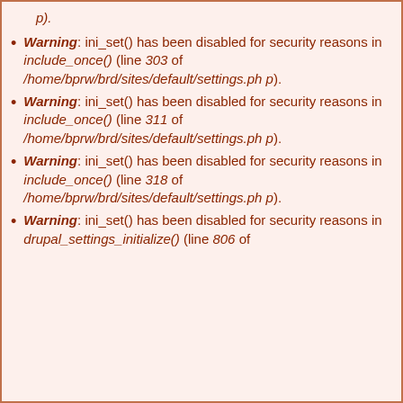Warning: ini_set() has been disabled for security reasons in include_once() (line 303 of /home/bprw/brd/sites/default/settings.php).
Warning: ini_set() has been disabled for security reasons in include_once() (line 311 of /home/bprw/brd/sites/default/settings.php).
Warning: ini_set() has been disabled for security reasons in include_once() (line 318 of /home/bprw/brd/sites/default/settings.php).
Warning: ini_set() has been disabled for security reasons in drupal_settings_initialize() (line 806 of